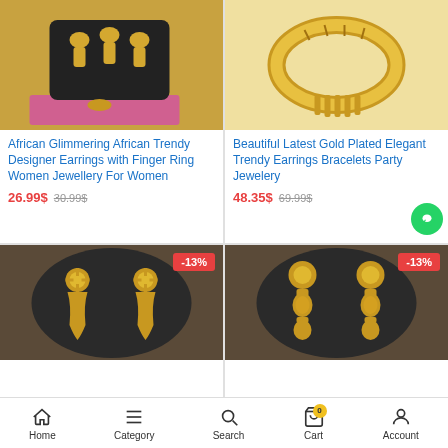[Figure (photo): Gold designer earrings set with finger ring displayed on black stand with pink box]
African Glimmering African Trendy Designer Earrings with Finger Ring Women Jewellery For Women
26.99$ 30.99$
[Figure (photo): Gold plated bracelet with intricate design on white background]
Beautiful Latest Gold Plated Elegant Trendy Earrings Bracelets Party Jewelery
48.35$ 69.99$
[Figure (photo): Gold earrings on dark display stand with -13% discount badge]
[Figure (photo): Gold drop earrings on dark display stand with -13% discount badge]
Home  Category  Search  Cart  Account